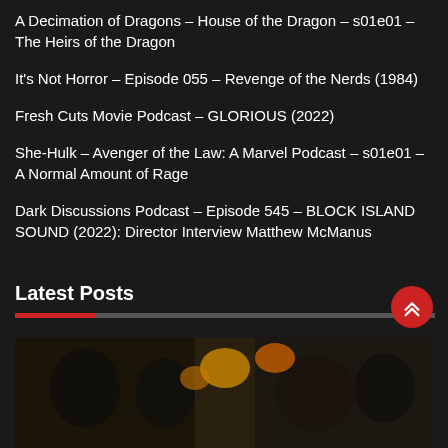A Decimation of Dragons – House of the Dragon – s01e01 – The Heirs of the Dragon
It's Not Horror – Episode 055 – Revenge of the Nerds (1984)
Fresh Cuts Movie Podcast – GLORIOUS (2022)
She-Hulk – Avenger of the Law: A Marvel Podcast – s01e01 – A Normal Amount of Rage
Dark Discussions Podcast – Episode 545 – BLOCK ISLAND SOUND (2022): Director Interview Matthew McManus
Latest Posts
[Figure (photo): Photo showing people in a scene, with a red circular scroll-to-top button overlaid in the bottom right corner]